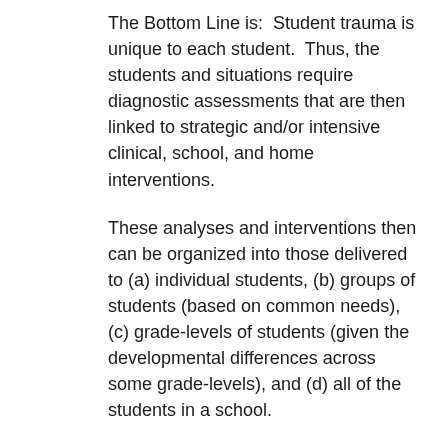The Bottom Line is:  Student trauma is unique to each student.  Thus, the students and situations require diagnostic assessments that are then linked to strategic and/or intensive clinical, school, and home interventions.
These analyses and interventions then can be organized into those delivered to (a) individual students, (b) groups of students (based on common needs), (c) grade-levels of students (given the developmental differences across some grade-levels), and (d) all of the students in a school.
While described from the "inside-out," the continuum above reflects the multi-tiered nature of most intervention systems.
But it is critical to note (as above) that the neuropsychological science underlying multi-tiered interventions for trauma